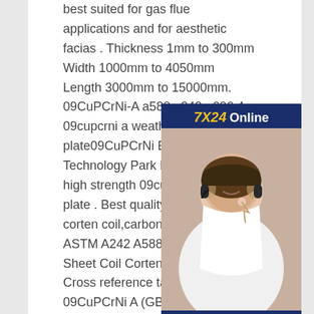best suited for gas flue applications and for aesthetic facias . Thickness 1mm to 300mm Width 1000mm to 4050mm Length 3000mm to 15000mm. 09CuPCrNi-A a588 a242 a606 4 09cupcrni a weathering steel plate09CuPCrNi B corten steel sh Technology Park Pisek STEELwh high strength 09cupcrni b weathe plate . Best quality what is 09cup corten coil,carbon steel .09CuPC ASTM A242 A588 Corten Steel P Sheet Coil Corten A B Spa h B48 Cross reference table for Steel 09CuPCrNi A (GB ) 09CuPCrNi A is a weather resistant steel created by alloying copper,chromium and nickel.09CuPCrNi A has added phosphorous which makes
[Figure (other): Online chat support advertisement with '7X24 Online' header, photo of a woman wearing a headset smiling, text 'Hello,may I help you?' and a yellow 'Get Latest Price' button on dark navy blue background.]